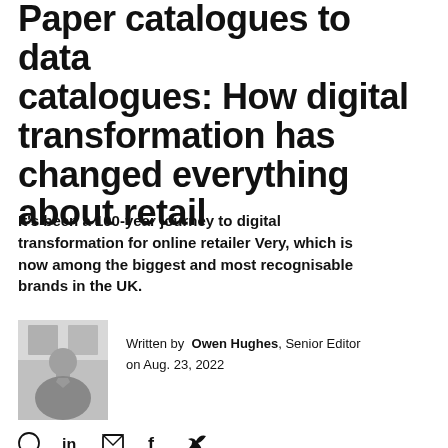Paper catalogues to data catalogues: How digital transformation has changed everything about retail
It's been a 100-year journey to digital transformation for online retailer Very, which is now among the biggest and most recognisable brands in the UK.
[Figure (photo): Black and white headshot photo of Owen Hughes, author.]
Written by Owen Hughes, Senior Editor on Aug. 23, 2022